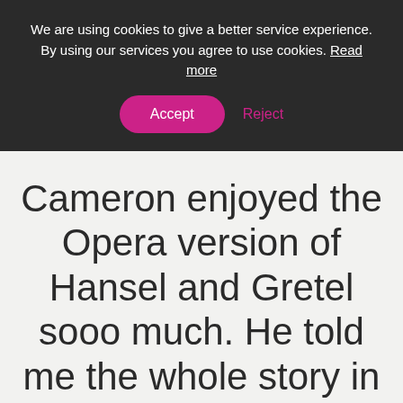We are using cookies to give a better service experience. By using our services you agree to use cookies. Read more
Accept
Reject
Cameron enjoyed the Opera version of Hansel and Gretel sooo much. He told me the whole story in his “opera voice”